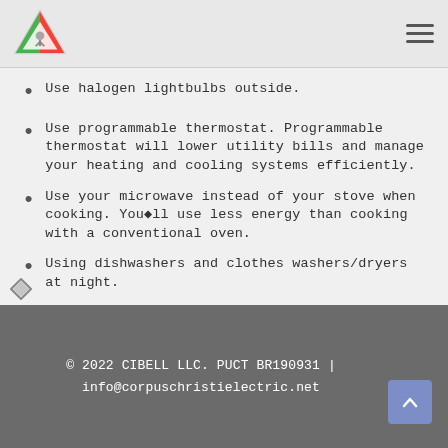Logo and navigation header
Use halogen lightbulbs outside.
Use programmable thermostat. Programmable thermostat will lower utility bills and manage your heating and cooling systems efficiently.
Use your microwave instead of your stove when cooking. You◆ll use less energy than cooking with a conventional oven.
Using dishwashers and clothes washers/dryers at night.
© 2022 CIBELL LLC. PUCT BR190931 | info@corpuschristielectric.net